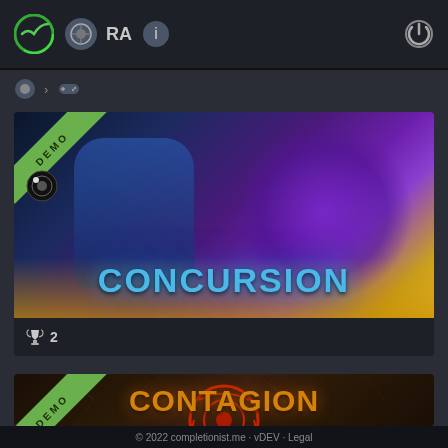App header bar with icons: completionist tracker, Steam, RA, info, power button
> controller navigation breadcrumb
[Figure (screenshot): Concursion game banner with DEMO badge in top-left corner. Shows an action character with red horned helmet against purple and yellow energy background. Large text reads CONCURSION at the bottom.]
🏆 2
[Figure (screenshot): Contagion game banner with DEMO badge in top-left corner. Shows a dark orange/brown cracked texture background with a red circular logo. Large stylized text reads CONTAGION.]
© 2022 completionist.me · vDEV · Legal